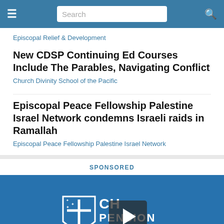Search
Episcopal Relief & Development
New CDSP Continuing Ed Courses Include The Parables, Navigating Conflict
Church Divinity School of the Pacific
Episcopal Peace Fellowship Palestine Israel Network condemns Israeli raids in Ramallah
Episcopal Peace Fellowship Palestine Israel Network
SPONSORED
[Figure (logo): Church Pension Group logo with shield/cross emblem and play button overlay on blue background, with partial text 'Passionately About Our People']